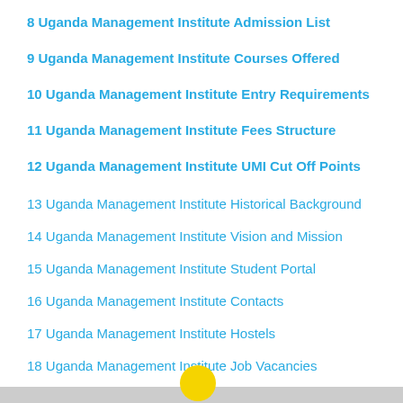8 Uganda Management Institute Admission List
9 Uganda Management Institute Courses Offered
10 Uganda Management Institute Entry Requirements
11 Uganda Management Institute Fees Structure
12 Uganda Management Institute UMI Cut Off Points
13 Uganda Management Institute Historical Background
14 Uganda Management Institute Vision and Mission
15 Uganda Management Institute Student Portal
16 Uganda Management Institute Contacts
17 Uganda Management Institute Hostels
18 Uganda Management Institute Job Vacancies